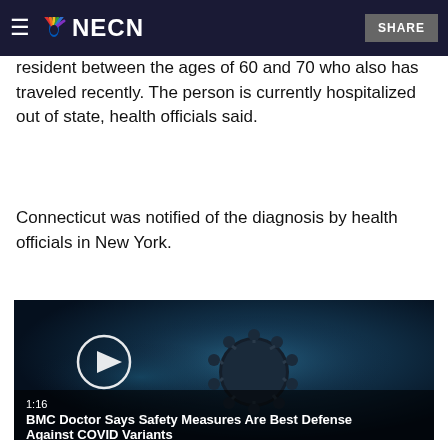NECN
resident between the ages of 60 and 70 who also has traveled recently. The person is currently hospitalized out of state, health officials said.
Connecticut was notified of the diagnosis by health officials in New York.
[Figure (screenshot): Video thumbnail showing a close-up image of a COVID-19 coronavirus particle against a dark blue background, with a play button circle overlay. Duration shown as 1:16. Title: BMC Doctor Says Safety Measures Are Best Defense Against COVID Variants]